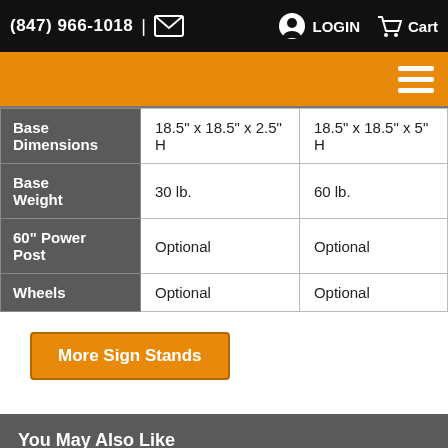(847) 966-1018 | [envelope icon] [LOGIN] [Cart]
|  | Column 1 | Column 2 |
| --- | --- | --- |
| Base Dimensions | 18.5" x 18.5" x 2.5" H | 18.5" x 18.5" x 5" H |
| Base Weight | 30 lb. | 60 lb. |
| 60" Power Post | Optional | Optional |
| Wheels | Optional | Optional |
More Sign Stands
You May Also Like
[Figure (photo): Product image placeholder for a sign stand]